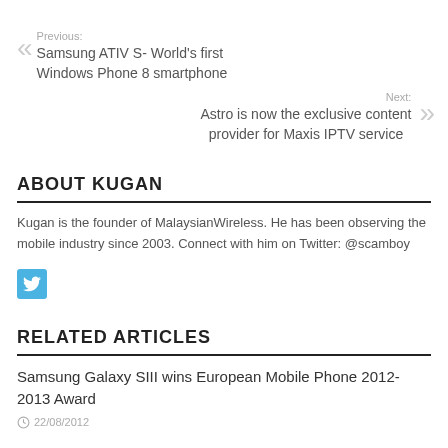Previous: Samsung ATIV S- World's first Windows Phone 8 smartphone
Next: Astro is now the exclusive content provider for Maxis IPTV service
ABOUT KUGAN
Kugan is the founder of MalaysianWireless. He has been observing the mobile industry since 2003. Connect with him on Twitter: @scamboy
[Figure (logo): Twitter bird icon in a blue square button]
RELATED ARTICLES
Samsung Galaxy SIII wins European Mobile Phone 2012-2013 Award
22/08/2012